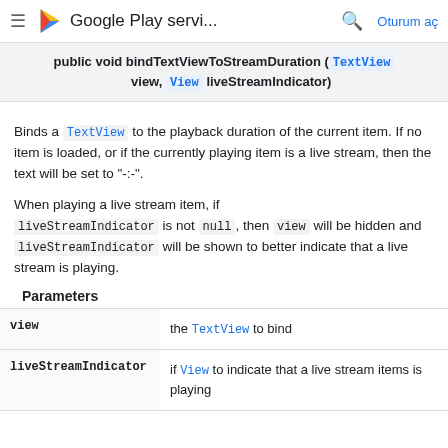Google Play servi... Oturum aç
public void bindTextViewToStreamDuration (TextView view, View liveStreamIndicator)
Binds a TextView to the playback duration of the current item. If no item is loaded, or if the currently playing item is a live stream, then the text will be set to "-:-".
When playing a live stream item, if liveStreamIndicator is not null, then view will be hidden and liveStreamIndicator will be shown to better indicate that a live stream is playing.
Parameters
|  |  |
| --- | --- |
| view | the TextView to bind |
| liveStreamIndicator | if View to indicate that a live stream items is playing |